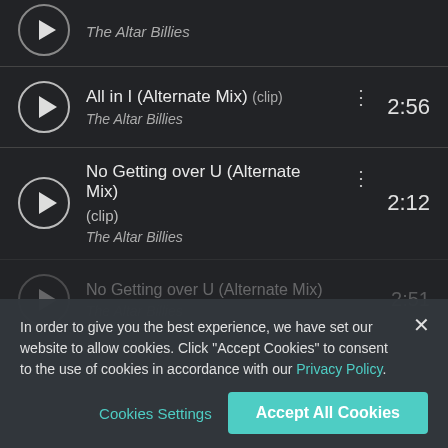The Altar Billies (partial, top)
All in I (Alternate Mix) (clip) — The Altar Billies — 2:56
No Getting over U (Alternate Mix) (clip) — The Altar Billies — 2:12
In order to give you the best experience, we have set our website to allow cookies. Click "Accept Cookies" to consent to the use of cookies in accordance with our Privacy Policy.
Cookies Settings | Accept All Cookies